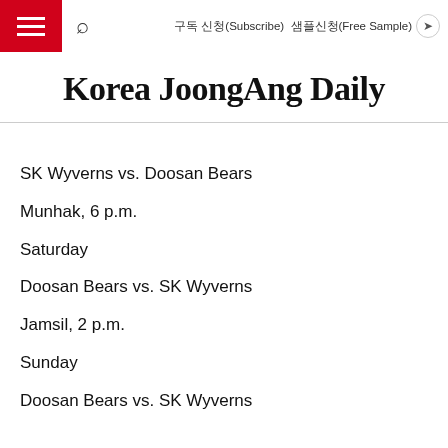구독 신청(Subscribe) 샘플신청(Free Sample)
Korea JoongAng Daily
SK Wyverns vs. Doosan Bears
Munhak, 6 p.m.
Saturday
Doosan Bears vs. SK Wyverns
Jamsil, 2 p.m.
Sunday
Doosan Bears vs. SK Wyverns